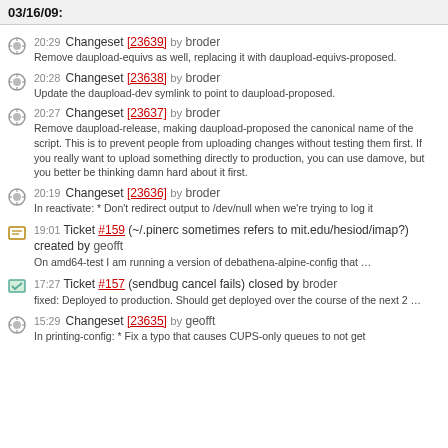03/16/09:
20:29 Changeset [23639] by broder
Remove daupload-equivs as well, replacing it with daupload-equivs-proposed.
20:28 Changeset [23638] by broder
Update the daupload-dev symlink to point to daupload-proposed.
20:27 Changeset [23637] by broder
Remove daupload-release, making daupload-proposed the canonical name of the script. This is to prevent people from uploading changes without testing them first. If you really want to upload something directly to production, you can use damove, but you better be thinking damn hard about it first.
20:19 Changeset [23636] by broder
In reactivate: * Don't redirect output to /dev/null when we're trying to log it
19:01 Ticket #159 (~/.pinerc sometimes refers to mit.edu/hesiod/imap?) created by geofft
On amd64-test I am running a version of debathena-alpine-config that …
17:27 Ticket #157 (sendbug cancel fails) closed by broder
fixed: Deployed to production. Should get deployed over the course of the next 2 …
15:29 Changeset [23635] by geofft
In printing-config: * Fix a typo that causes CUPS-only queues to not get